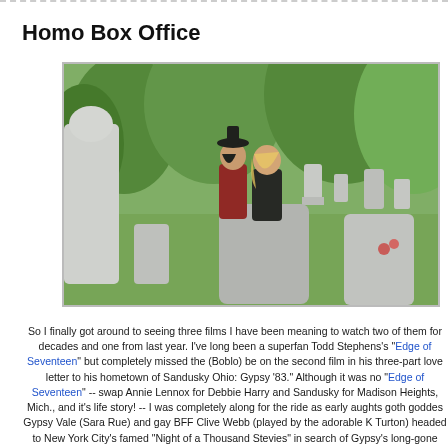Homo Box Office
[Figure (photo): Two women dressed in gothic/dark attire standing in a cemetery among gravestones, with green trees in the background. One wears a black hat and red jacket, the other has blonde hair and a black outfit.]
So I finally got around to seeing three films I have been meaning to watch two of them for decades and one from last year. I've long been a superfan Todd Stephens's "Edge of Seventeen" but completely missed the (Boblo) be on the second film in his three-part love letter to his hometown of Sandusky Ohio: Gypsy '83." Although it was no "Edge of Seventeen" -- swap Annie Lennox for Debbie Harry and Sandusky for Madison Heights, Mich., and it's life story! -- I was completely along for the ride as early aughts goth goddes Gypsy Vale (Sara Rue) and gay BFF Clive Webb (played by the adorable K Turton) headed to New York City's famed "Night of a Thousand Stevies" in search of Gypsy's long-gone mother. A nice performance by X's John Doe...